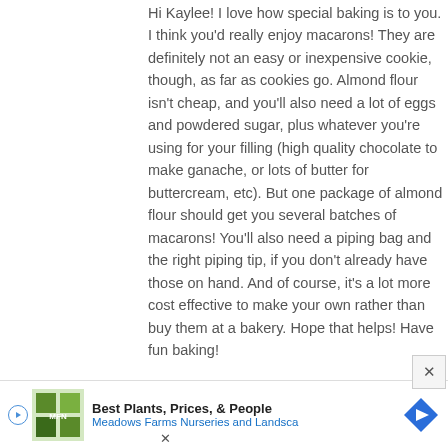Hi Kaylee! I love how special baking is to you. I think you'd really enjoy macarons! They are definitely not an easy or inexpensive cookie, though, as far as cookies go. Almond flour isn't cheap, and you'll also need a lot of eggs and powdered sugar, plus whatever you're using for your filling (high quality chocolate to make ganache, or lots of butter for buttercream, etc). But one package of almond flour should get you several batches of macarons! You'll also need a piping bag and the right piping tip, if you don't already have those on hand. And of course, it's a lot more cost effective to make your own rather than buy them at a bakery. Hope that helps! Have fun baking!
[Figure (screenshot): Advertisement banner for Meadows Farms Nurseries and Landscape with logo, text 'Best Plants, Prices, & People', and a blue diamond navigation icon.]